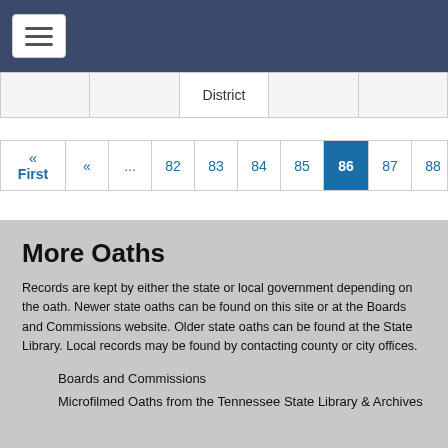Navigation bar with hamburger menu
|  |  | District |  |  |
| --- | --- | --- | --- | --- |
|  |
« First « ... 82 83 84 85 86 87 88
More Oaths
Records are kept by either the state or local government depending on the oath. Newer state oaths can be found on this site or at the Boards and Commissions website. Older state oaths can be found at the State Library. Local records may be found by contacting county or city offices.
Boards and Commissions
Microfilmed Oaths from the Tennessee State Library & Archives